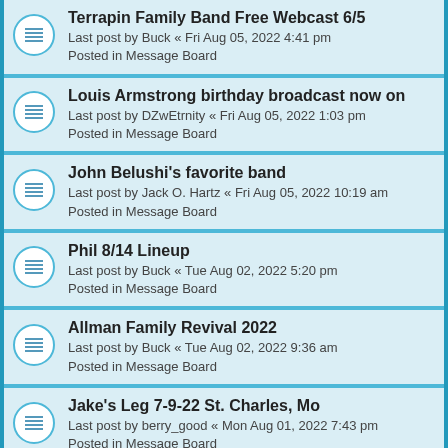Terrapin Family Band Free Webcast 6/5
Last post by Buck « Fri Aug 05, 2022 4:41 pm
Posted in Message Board
Louis Armstrong birthday broadcast now on
Last post by DZwEtrnity « Fri Aug 05, 2022 1:03 pm
Posted in Message Board
John Belushi's favorite band
Last post by Jack O. Hartz « Fri Aug 05, 2022 10:19 am
Posted in Message Board
Phil 8/14 Lineup
Last post by Buck « Tue Aug 02, 2022 5:20 pm
Posted in Message Board
Allman Family Revival 2022
Last post by Buck « Tue Aug 02, 2022 9:36 am
Posted in Message Board
Jake's Leg 7-9-22 St. Charles, Mo
Last post by berry_good « Mon Aug 01, 2022 7:43 pm
Posted in Message Board
Anyone see my moves last night?
Last post by Intobdarkst119 « Mon Aug 01, 2022 1:20 pm